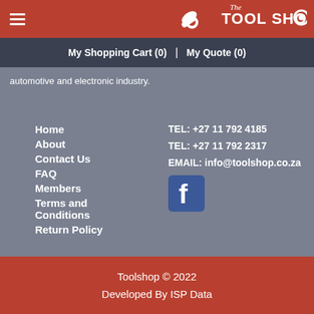[Figure (logo): The Tool Shop logo with wrench icon on red header bar]
My Shopping Cart (0)  |  My Quote (0)
automotive and electronic industry.
Home
About
Contact Us
FAQ
Members
Terms and Conditions
Return Policy
TEL: +27 11 792 4185
TEL: +27 11 792 2317
EMAIL: info@toolshop.co.za
[Figure (logo): Facebook logo icon - blue square with white f]
Toolshop © 2022
Developed By ISP Data